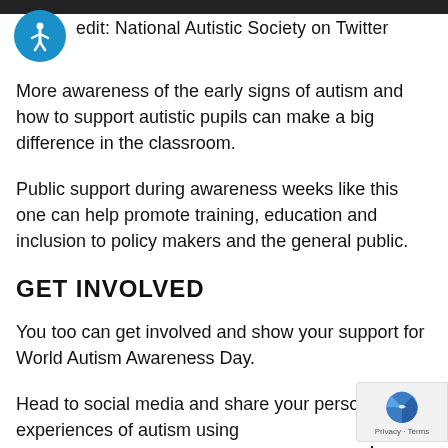edit: National Autistic Society on Twitter
More awareness of the early signs of autism and how to support autistic pupils can make a big difference in the classroom.
Public support during awareness weeks like this one can help promote training, education and inclusion to policy makers and the general public.
GET INVOLVED
You too can get involved and show your support for World Autism Awareness Day.
Head to social media and share your personal experiences of autism using #WorldAutismAwarenessDay or to show you